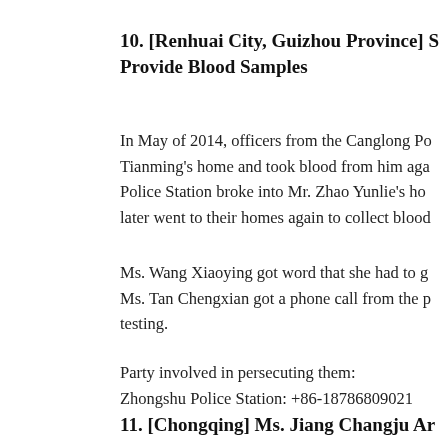10. [Renhuai City, Guizhou Province] S... Provide Blood Samples
In May of 2014, officers from the Canglong Po... Tianming's home and took blood from him aga... Police Station broke into Mr. Zhao Yunlie's ho... later went to their homes again to collect blood...
Ms. Wang Xiaoying got word that she had to g... Ms. Tan Chengxian got a phone call from the p... testing.
Party involved in persecuting them:
Zhongshu Police Station: +86-18786809021
11. [Chongqing] Ms. Jiang Changju Ar...